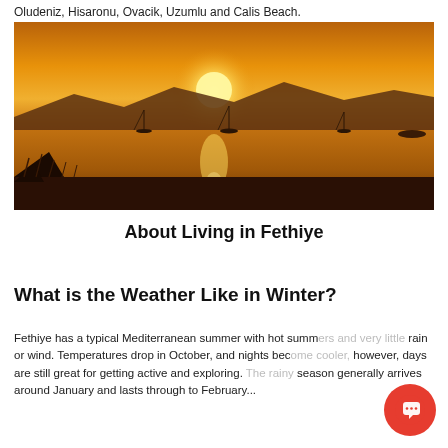Oludeniz, Hisaronu, Ovacik, Uzumlu and Calis Beach.
[Figure (photo): Sunset over a calm bay with sailboats and mountains in the background, golden sky reflected in the water]
About Living in Fethiye
What is the Weather Like in Winter?
Fethiye has a typical Mediterranean summer with hot summ... rain or wind. Temperatures drop in October, and nights bec... however, days are still great for getting active and exploring... ly season generally arrives around January and lasts through to February...